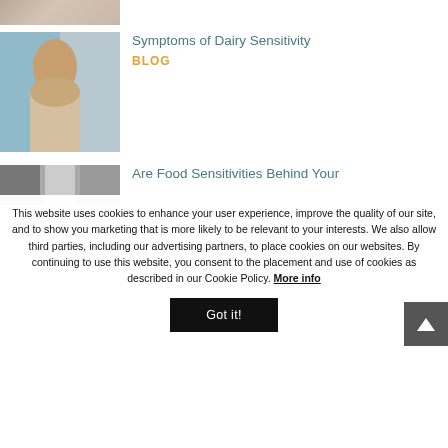[Figure (photo): Partial view of a person image at top of page, cropped]
Symptoms of Dairy Sensitivity
BLOG
[Figure (photo): Woman in blue top sitting, holding her stomach area]
Are Food Sensitivities Behind Your
This website uses cookies to enhance your user experience, improve the quality of our site, and to show you marketing that is more likely to be relevant to your interests. We also allow third parties, including our advertising partners, to place cookies on our websites. By continuing to use this website, you consent to the placement and use of cookies as described in our Cookie Policy. More info
Got it!